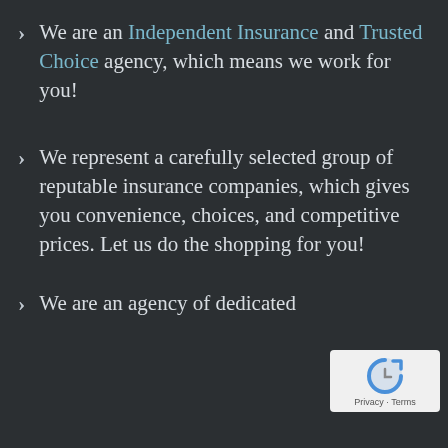We are an Independent Insurance and Trusted Choice agency, which means we work for you!
We represent a carefully selected group of reputable insurance companies, which gives you convenience, choices, and competitive prices. Let us do the shopping for you!
We are an agency of dedicated
[Figure (logo): Google reCAPTCHA badge with Privacy and Terms links]